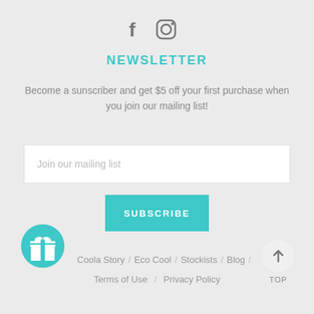[Figure (other): Social media icons: Facebook (f) and Instagram (camera icon)]
NEWSLETTER
Become a sunscriber and get $5 off your first purchase when you join our mailing list!
[Figure (other): Email input field with placeholder text 'Join our mailing list']
[Figure (other): Teal SUBSCRIBE button]
[Figure (other): Top/back-to-top button with upward arrow and TOP label]
[Figure (other): Teal gift icon circle]
Coola Story / Eco Cool / Stockists / Blog /
Terms of Use / Privacy Policy